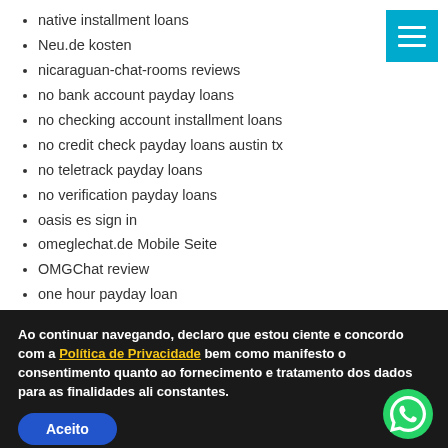native installment loans
Neu.de kosten
nicaraguan-chat-rooms reviews
no bank account payday loans
no checking account installment loans
no credit check payday loans austin tx
no teletrack payday loans
no verification payday loans
oasis es sign in
omeglechat.de Mobile Seite
OMGChat review
one hour payday loan
one hour payday loans
onenightfriend bewertung
Online Games
online pay day loans
online payday loan
online payday loans same day
online payday loans same day deposit
Ao continuar navegando, declaro que estou ciente e concordo com a Política de Privacidade bem como manifesto o consentimento quanto ao fornecimento e tratamento dos dados para as finalidades ali constantes.
Aceito